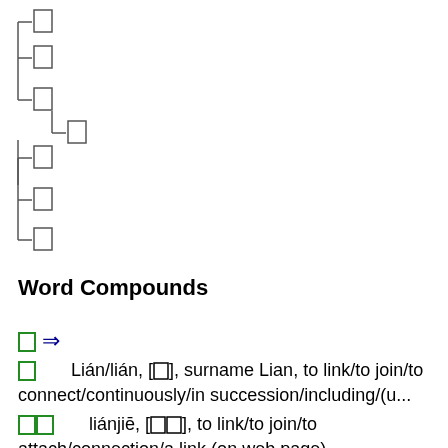[Figure (other): A tree/hierarchy diagram showing Chinese characters arranged in a nested list structure with branch connectors (├ and └ symbols), all characters shown as empty boxes (placeholder rectangles)]
Word Compounds
□ ⇒
□        Lián/lián, [□], surname Lian, to link/to join/to connect/continuously/in succession/including/(u...
□□        liánjiē, [□□], to link/to join/to attach/connection/a link (on web page)